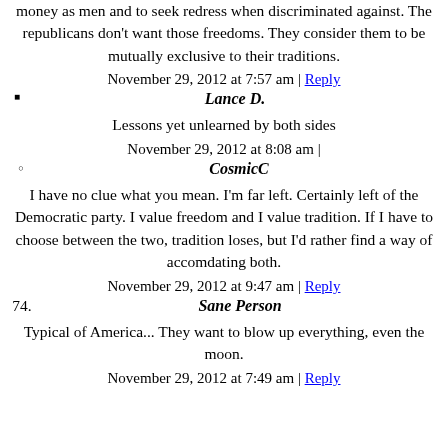money as men and to seek redress when discriminated against. The republicans don't want those freedoms. They consider them to be mutually exclusive to their traditions.
November 29, 2012 at 7:57 am | Reply
Lance D.
Lessons yet unlearned by both sides
November 29, 2012 at 8:08 am |
CosmicC
I have no clue what you mean. I'm far left. Certainly left of the Democratic party. I value freedom and I value tradition. If I have to choose between the two, tradition loses, but I'd rather find a way of accomdating both.
November 29, 2012 at 9:47 am | Reply
74. Sane Person
Typical of America... They want to blow up everything, even the moon.
November 29, 2012 at 7:49 am | Reply